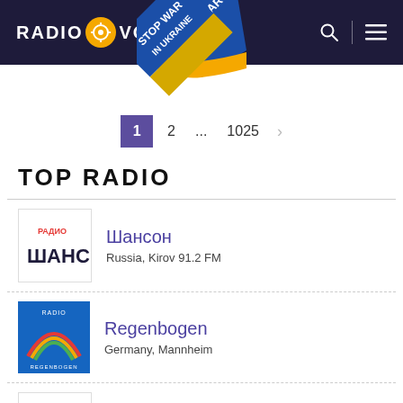RADIO VOLNA — Stop War in Ukraine
1  2  ...  1025  >
TOP RADIO
Шансон
Russia, Kirov 91.2 FM
Regenbogen
Germany, Mannheim
Шансон
Russia, Kursk 71.18 УКВ